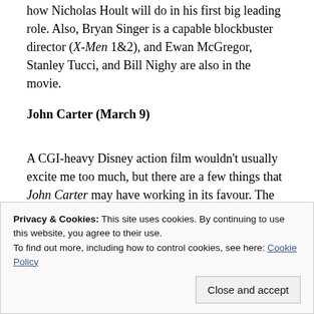how Nicholas Hoult will do in his first big leading role. Also, Bryan Singer is a capable blockbuster director (X-Men 1&2), and Ewan McGregor, Stanley Tucci, and Bill Nighy are also in the movie.
John Carter (March 9)
A CGI-heavy Disney action film wouldn't usually excite me too much, but there are a few things that John Carter may have working in its favour. The first is its star, Taylor Kitsch. Anyone who watches Friday Night Lights knows all about Kitsch's charisma, so I'm very
seems to have brought the visual style from
Privacy & Cookies: This site uses cookies. By continuing to use this website, you agree to their use.
To find out more, including how to control cookies, see here: Cookie Policy
Close and accept